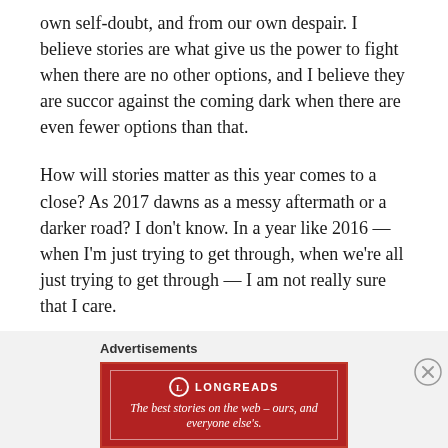own self-doubt, and from our own despair. I believe stories are what give us the power to fight when there are no other options, and I believe they are succor against the coming dark when there are even fewer options than that.
How will stories matter as this year comes to a close? As 2017 dawns as a messy aftermath or a darker road? I don't know. In a year like 2016 — when I'm just trying to get through, when we're all just trying to get through — I am not really sure that I care.
Advertisements
[Figure (logo): Longreads advertisement banner: red background with Longreads logo and tagline 'The best stories on the web – ours, and everyone else's.']